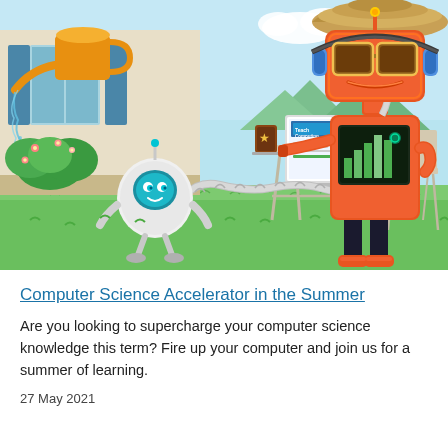[Figure (illustration): Colourful illustration of two cartoon robots in an outdoor summer scene. A small white round robot waters plants on the left with a hose connected to a large orange robot sitting at a garden table on the right. The orange robot wears glasses and headphones and has a bar chart display on its chest. A laptop showing a 'Teach Computing' website sits on the table. Background shows a house, blue sky with clouds, mountains, and green grass.]
Computer Science Accelerator in the Summer
Are you looking to supercharge your computer science knowledge this term? Fire up your computer and join us for a summer of learning.
27 May 2021